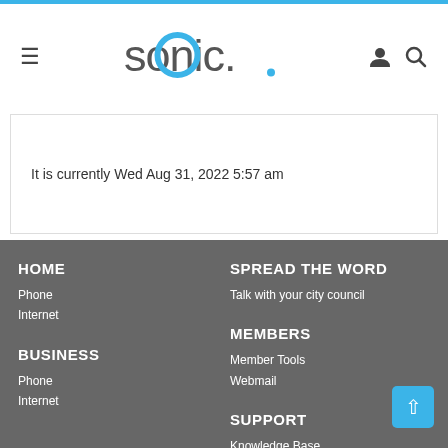sonic. (navigation bar with hamburger menu, logo, user icon, search icon)
It is currently Wed Aug 31, 2022 5:57 am
HOME
Phone
Internet
BUSINESS
Phone
Internet
SPREAD THE WORD
Talk with your city council
MEMBERS
Member Tools
Webmail
SUPPORT
Knowledge Base
Forums
Setup Guides & Product Info
Sonic Speed Test